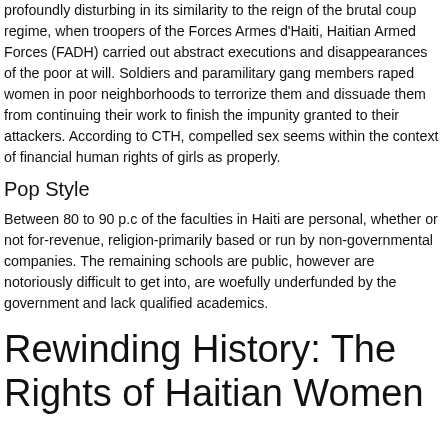profoundly disturbing in its similarity to the reign of the brutal coup regime, when troopers of the Forces Armes d'Haiti, Haitian Armed Forces (FADH) carried out abstract executions and disappearances of the poor at will. Soldiers and paramilitary gang members raped women in poor neighborhoods to terrorize them and dissuade them from continuing their work to finish the impunity granted to their attackers. According to CTH, compelled sex seems within the context of financial human rights of girls as properly.
Pop Style
Between 80 to 90 p.c of the faculties in Haiti are personal, whether or not for-revenue, religion-primarily based or run by non-governmental companies. The remaining schools are public, however are notoriously difficult to get into, are woefully underfunded by the government and lack qualified academics.
Rewinding History: The Rights of Haitian Women